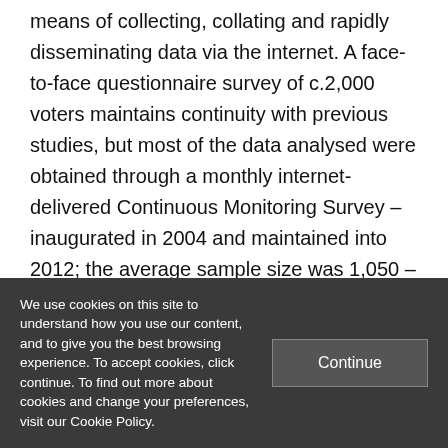means of collecting, collating and rapidly disseminating data via the internet. A face-to-face questionnaire survey of c.2,000 voters maintains continuity with previous studies, but most of the data analysed were obtained through a monthly internet-delivered Continuous Monitoring Survey – inaugurated in 2004 and maintained into 2012; the average sample size was 1,050 – plus a large (c.17,000) Rolling Campaign
We use cookies on this site to understand how you use our content, and to give you the best browsing experience. To accept cookies, click continue. To find out more about cookies and change your preferences, visit our Cookie Policy.